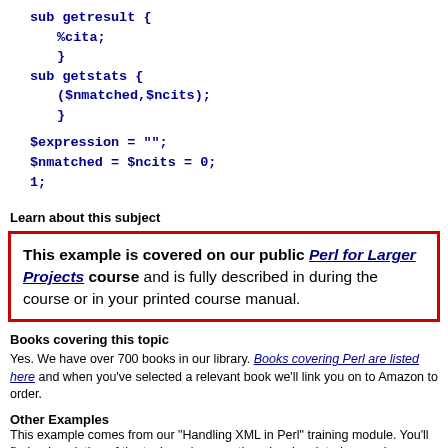sub getresult {
    %cita;
    }
sub getstats {
    ($nmatched,$ncits);
    }

$expression = "";
$nmatched = $ncits = 0;
1;
Learn about this subject
This example is covered on our public Perl for Larger Projects course and is fully described in during the course or in your printed course manual.
Books covering this topic
Yes. We have over 700 books in our library. Books covering Perl are listed here and when you've selected a relevant book we'll link you on to Amazon to order.
Other Examples
This example comes from our "Handling XML in Perl" training module. You'll find a description of the topic and some other closely related examples on the "Handling XML in Perl" module index page.